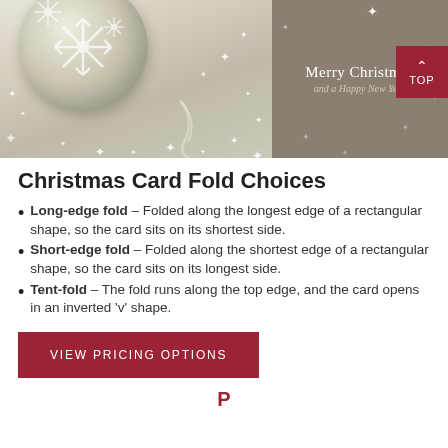[Figure (illustration): Christmas ornament ball with snowflake design on silver/beige sparkly background (left), and dark taupe panel with 'Merry Christmas and a Happy New Year' text (right)]
Christmas Card Fold Choices
Long-edge fold – Folded along the longest edge of a rectangular shape, so the card sits on its shortest side.
Short-edge fold – Folded along the shortest edge of a rectangular shape, so the card sits on its longest side.
Tent-fold – The fold runs along the top edge, and the card opens in an inverted 'v' shape.
VIEW PRICING OPTIONS
TOP